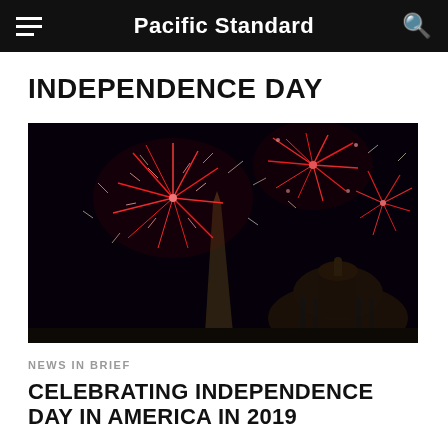Pacific Standard
INDEPENDENCE DAY
[Figure (photo): Fireworks exploding in red and white over the Washington Monument and the dome of the US Capitol building at night]
NEWS IN BRIEF
CELEBRATING INDEPENDENCE DAY IN AMERICA IN 2019